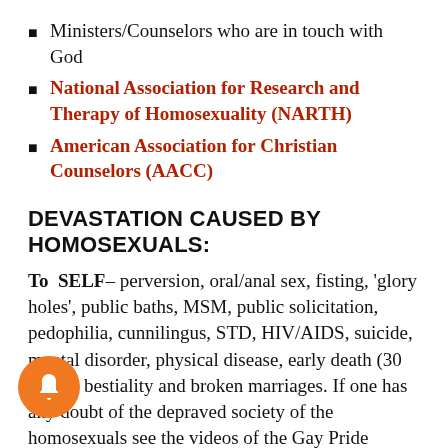Ministers/Counselors who are in touch with God
National Association for Research and Therapy of Homosexuality (NARTH)
American Association for Christian Counselors (AACC)
DEVASTATION CAUSED BY HOMOSEXUALS:
To SELF– perversion, oral/anal sex, fisting, 'glory holes', public baths, MSM, public solicitation, pedophilia, cunnilingus, STD, HIV/AIDS, suicide, mental disorder, physical disease, early death (30 years), bestiality and broken marriages. If one has any doubt of the depraved society of the homosexuals see the videos of the Gay Pride parades and the San Francisco public baths and read the Gay Manifestos'- A Gay Manifestos 1970 by Carl Wittman and The Gay Manifestos by